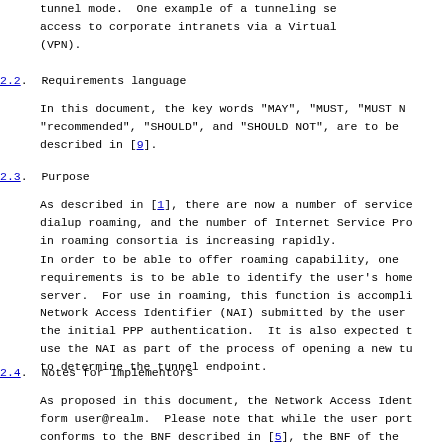tunnel mode.  One example of a tunneling service is access to corporate intranets via a Virtual (VPN).
2.2.  Requirements language
In this document, the key words "MAY", "MUST, "MUST NOT", "recommended", "SHOULD", and "SHOULD NOT", are to be described in [9].
2.3.  Purpose
As described in [1], there are now a number of services dialup roaming, and the number of Internet Service Providers in roaming consortia is increasing rapidly.
In order to be able to offer roaming capability, one of the requirements is to be able to identify the user's home server.  For use in roaming, this function is accomplished by the Network Access Identifier (NAI) submitted by the user during the initial PPP authentication.  It is also expected that ISPs will use the NAI as part of the process of opening a new tunnel, in order to determine the tunnel endpoint.
2.4.  Notes for Implementors
As proposed in this document, the Network Access Identifier has the form user@realm.  Please note that while the user portion of the NAI conforms to the BNF described in [5], the BNF of the realm portion allows the realm to begin with a digit, which is not permitted by the hostname BNF.